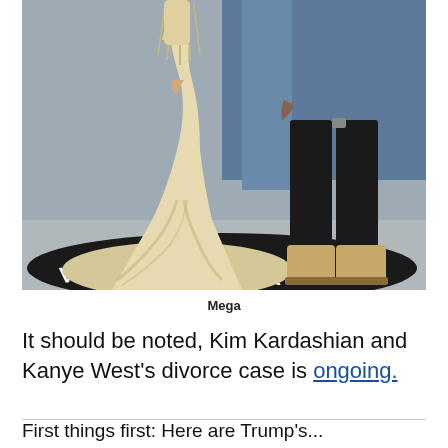[Figure (photo): Photo of two people at a Vanity Fair event. One person wears a large cream/white fur gown, the other wears black leather pants and tan boots. They stand on a dark circular Vanity Fair branded platform.]
Mega
It should be noted, Kim Kardashian and Kanye West's divorce case is ongoing.
First things first: Here are Trump's...